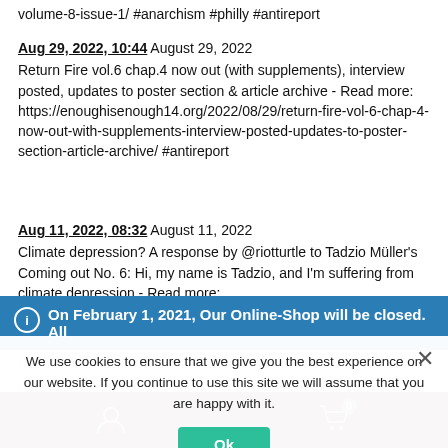volume-8-issue-1/ #anarchism #philly #antireport
Aug 29, 2022, 10:44 August 29, 2022
Return Fire vol.6 chap.4 now out (with supplements), interview posted, updates to poster section & article archive - Read more: https://enoughisenough14.org/2022/08/29/return-fire-vol-6-chap-4-now-out-with-supplements-interview-posted-updates-to-poster-section-article-archive/ #antireport
Aug 11, 2022, 08:32 August 11, 2022
Climate depression? A response by @riotturtle to Tadzio Müller's Coming out No. 6: Hi, my name is Tadzio, and I'm suffering from climate depression - Read more: https://enoughisenough14.org/2022/08/11/climate-depression-a-
On February 1, 2021, Our Online-Shop will be closed. All orders until January 31 will be delivered
Dismiss
We use cookies to ensure that we give you the best experience on our website. If you continue to use this site we will assume that you are happy with it.